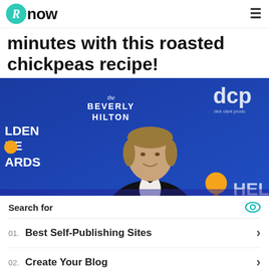Rnow
minutes with this roasted chickpeas recipe!
[Figure (photo): Man in tuxedo at Golden Globe Awards holding a trophy, standing in front of The Beverly Hilton backdrop with dcp (dick clark productions) logo]
Search for
01. Best Self-Publishing Sites
02. Create Your Blog
Yahoo! Search | Sponsored